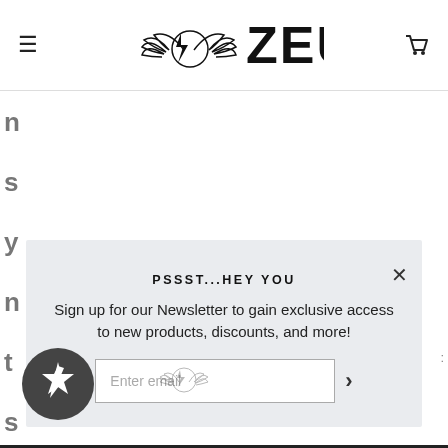[Figure (logo): ZEUS brand logo with laurel wreath and lightning bolt, black on white]
n
s
y
n
t
s
n
t
PSSST...HEY YOU
Sign up for our Newsletter to gain exclusive access to new products, discounts, and more!
Enter email
[Figure (logo): Zeus logo small gray laurel wreath with lightning bolt]
[Figure (logo): Star badge dark circle with white star]